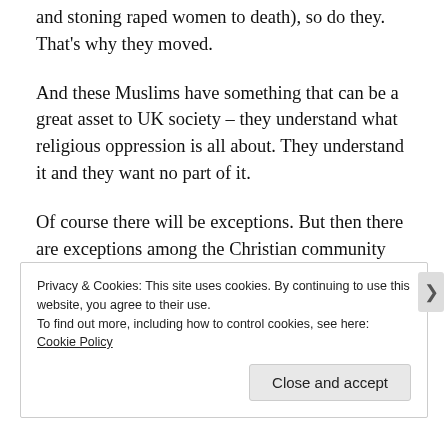and Christianity (you know – the bits about keeping slaves and stoning raped women to death), so do they. That's why they moved.
And these Muslims have something that can be a great asset to UK society – they understand what religious oppression is all about. They understand it and they want no part of it.
Of course there will be exceptions. But then there are exceptions among the Christian community too. There are Catholics who oppose contraception and Christian fundamentalists who oppose sex education. There are Christian creationists who want our children taught only
Privacy & Cookies: This site uses cookies. By continuing to use this website, you agree to their use.
To find out more, including how to control cookies, see here: Cookie Policy